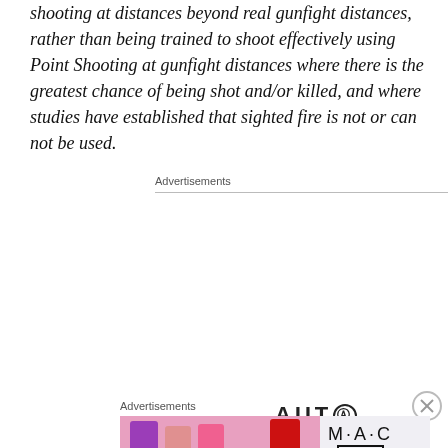shooting at distances beyond real gunfight distances, rather than being trained to shoot effectively using Point Shooting at gunfight distances where there is the greatest chance of being shot and/or killed, and where studies have established that sighted fire is not or can not be used.
Advertisements
[Figure (other): Automattic advertisement: logo with 'AUTOMATTIC' text, tagline 'Build a better web and a better world.', Apply button, and person photo in circle]
Advertisements
[Figure (other): MAC cosmetics advertisement showing lipsticks in purple, pink, and red with MAC logo and SHOP NOW button]